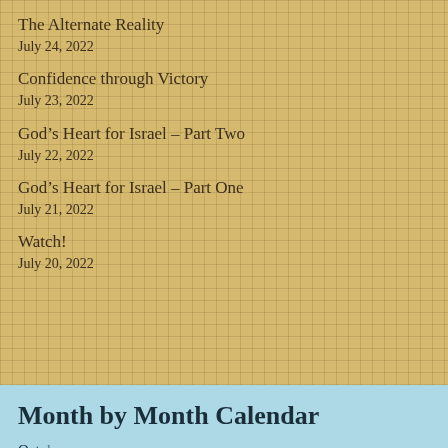The Alternate Reality
July 24, 2022
Confidence through Victory
July 23, 2022
God’s Heart for Israel – Part Two
July 22, 2022
God’s Heart for Israel – Part One
July 21, 2022
Watch!
July 20, 2022
Month by Month Calendar
October